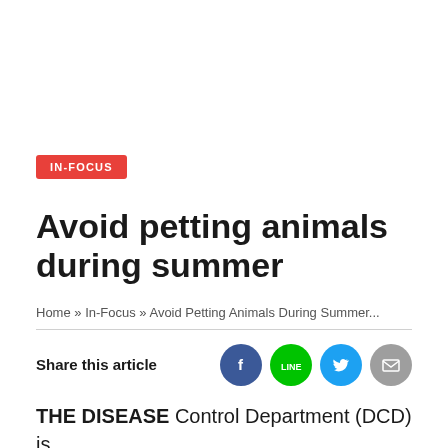IN-FOCUS
Avoid petting animals during summer
Home » In-Focus » Avoid Petting Animals During Summer...
Share this article
[Figure (other): Social share icons: Facebook (blue circle), LINE (green circle), Twitter (light blue circle), Email (grey circle)]
THE DISEASE Control Department (DCD) is